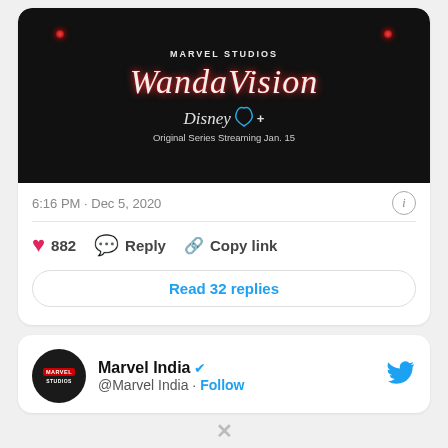[Figure (screenshot): WandaVision promotional image showing the Marvel Studios logo, WandaVision title in glowing red italic text, Disney+ logo, and text 'Original Series Streaming Jan. 15' on dark background]
6:16 PM · Dec 5, 2020
882 Reply Copy link
Read 32 replies
Marvel India @Marvel India · Follow